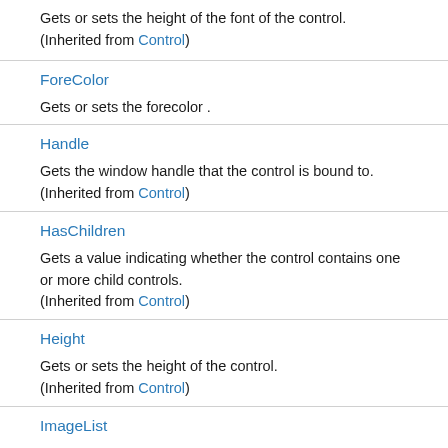Gets or sets the height of the font of the control.
(Inherited from Control)
ForeColor
Gets or sets the forecolor .
Handle
Gets the window handle that the control is bound to.
(Inherited from Control)
HasChildren
Gets a value indicating whether the control contains one or more child controls.
(Inherited from Control)
Height
Gets or sets the height of the control.
(Inherited from Control)
ImageList